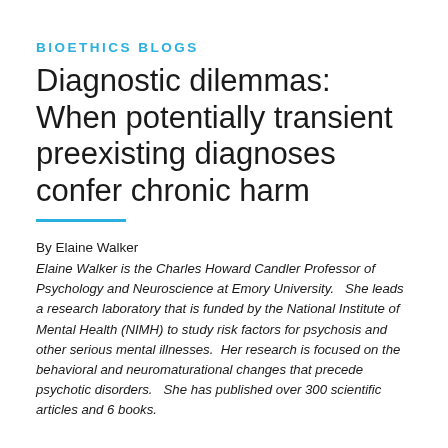BIOETHICS BLOGS
Diagnostic dilemmas: When potentially transient preexisting diagnoses confer chronic harm
By Elaine Walker
Elaine Walker is the Charles Howard Candler Professor of Psychology and Neuroscience at Emory University.   She leads a research laboratory that is funded by the National Institute of Mental Health (NIMH) to study risk factors for psychosis and other serious mental illnesses.  Her research is focused on the behavioral and neuromaturational changes that precede psychotic disorders.   She has published over 300 scientific articles and 6 books.